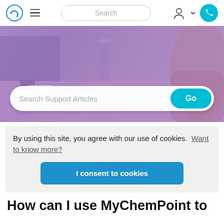Navigation bar with logo, hamburger menu, Search input, user icon, phone button
[Figure (screenshot): Hero banner image showing a person typing at a keyboard with a mug, tinted purple/violet, with a 'Search Support Articles' input bar and 'Go' button overlaid]
By using this site, you agree with our use of cookies.  Want to know more?
I consent to cookies
How can I use MyChemPoint to